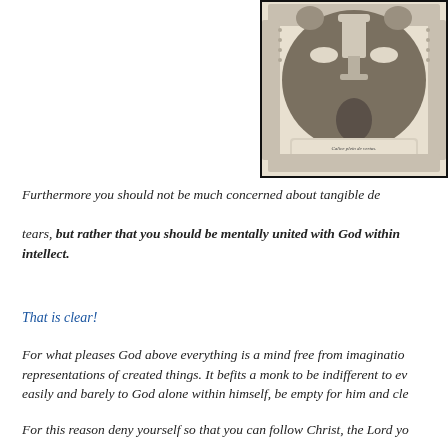[Figure (illustration): A religious holy card or devotional image featuring a chalice (goblet) with decorative lace border, doves, and floral elements. Text at bottom reads 'Calice plein de vertus.' Black and white engraving style.]
Furthermore you should not be much concerned about tangible devotion such as tears, but rather that you should be mentally united with God within your intellect.
That is clear!
For what pleases God above everything is a mind free from imagination and representations of created things. It befits a monk to be indifferent to everything easily and barely to God alone within himself, be empty for him and cle...
For this reason deny yourself so that you can follow Christ, the Lord yo...